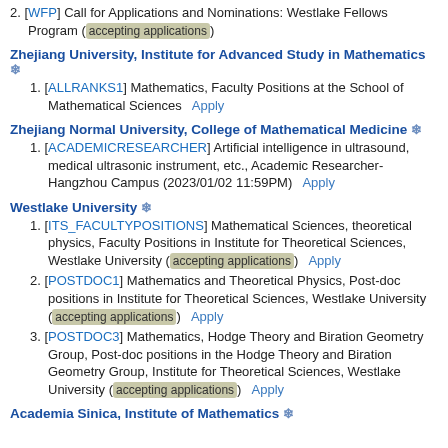2. [WFP] Call for Applications and Nominations: Westlake Fellows Program (accepting applications)
Zhejiang University, Institute for Advanced Study in Mathematics ❄
1. [ALLRANKS1] Mathematics, Faculty Positions at the School of Mathematical Sciences   Apply
Zhejiang Normal University, College of Mathematical Medicine ❄
1. [ACADEMICRESEARCHER] Artificial intelligence in ultrasound, medical ultrasonic instrument, etc., Academic Researcher-Hangzhou Campus (2023/01/02 11:59PM)   Apply
Westlake University ❄
1. [ITS_FACULTYPOSITIONS] Mathematical Sciences, theoretical physics, Faculty Positions in Institute for Theoretical Sciences, Westlake University (accepting applications)   Apply
2. [POSTDOC1] Mathematics and Theoretical Physics, Post-doc positions in Institute for Theoretical Sciences, Westlake University (accepting applications)   Apply
3. [POSTDOC3] Mathematics, Hodge Theory and Biration Geometry Group, Post-doc positions in the Hodge Theory and Biration Geometry Group, Institute for Theoretical Sciences, Westlake University (accepting applications)   Apply
Academia Sinica, Institute of Mathematics ❄